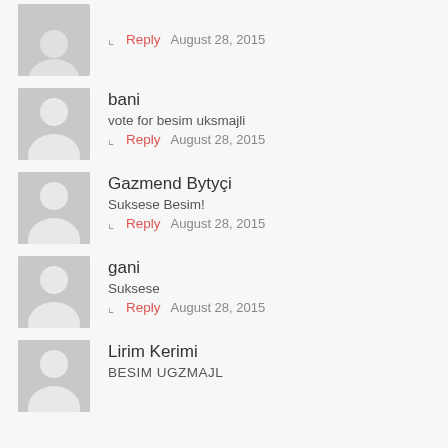Reply  August 28, 2015
bani
vote for besim uksmajli
Reply  August 28, 2015
Gazmend Bytyçi
Suksese Besim!
Reply  August 28, 2015
gani
Suksese
Reply  August 28, 2015
Lirim Kerimi
BESIM UGZMAJL